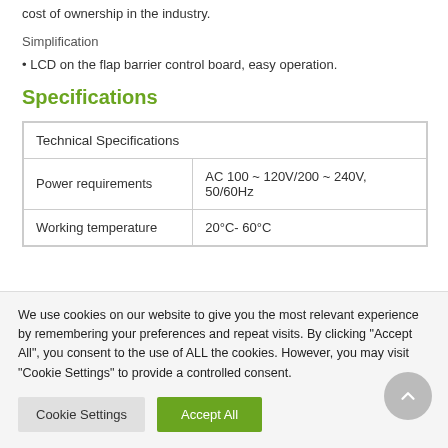cost of ownership in the industry.
Simplification
• LCD on the flap barrier control board, easy operation.
Specifications
| Technical Specifications |  |
| --- | --- |
| Power requirements | AC 100 ~ 120V/200 ~ 240V, 50/60Hz |
| Working temperature | 20°C- 60°C |
We use cookies on our website to give you the most relevant experience by remembering your preferences and repeat visits. By clicking "Accept All", you consent to the use of ALL the cookies. However, you may visit "Cookie Settings" to provide a controlled consent.